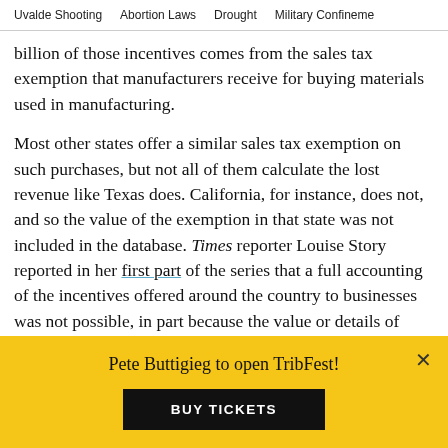Uvalde Shooting   Abortion Laws   Drought   Military Confinement
billion of those incentives comes from the sales tax exemption that manufacturers receive for buying materials used in manufacturing.
Most other states offer a similar sales tax exemption on such purchases, but not all of them calculate the lost revenue like Texas does. California, for instance, does not, and so the value of the exemption in that state was not included in the database. Times reporter Louise Story reported in her first part of the series that a full accounting of the incentives offered around the country to businesses was not possible, in part because the value or details of many are not publicly available.
Pete Buttigieg to open TribFest!
BUY TICKETS